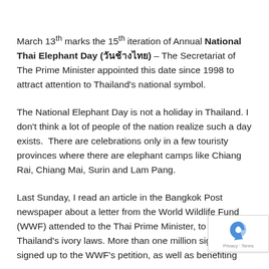March 13th marks the 15th iteration of Annual National Thai Elephant Day (วันช้างไทย) – The Secretariat of The Prime Minister appointed this date since 1998 to attract attention to Thailand's national symbol.
The National Elephant Day is not a holiday in Thailand. I don't think a lot of people of the nation realize such a day exists.  There are celebrations only in a few touristy provinces where there are elephant camps like Chiang Rai, Chiang Mai, Surin and Lam Pang.
Last Sunday, I read an article in the Bangkok Post newspaper about a letter from the World Wildlife Fund (WWF) attended to the Thai Prime Minister, to reform Thailand's ivory laws. More than one million signatures signed up to the WWF's petition, as well as benefiting